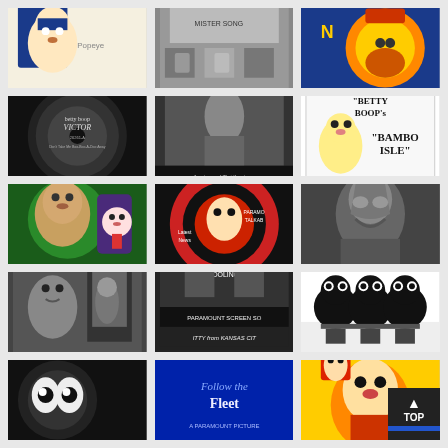[Figure (illustration): Popeye cartoon character illustration in color, sailor outfit]
[Figure (photo): Black and white still from a cartoon or film, characters at a table labeled 'Mister Song']
[Figure (illustration): Colorful cartoon illustration with orange character and hat]
[Figure (photo): Black and white photo of a Victor Records betty boop vinyl record label]
[Figure (photo): Black and white film still of a woman standing in a room with subtitle text 'flam-ing eyes! That flam-ing yo, Oh, Mis-ter! Oh, Sis-ter']
[Figure (illustration): Betty Boop's Bambo Isle title card illustration, Paramount Star Fleischer Studios]
[Figure (illustration): Betty Boop poster art with woman's face in green and purple colors]
[Figure (illustration): Paramount Talkaboo screen advertisement with cartoon character, red and black circular design, 'Laughs', 'Latest News']
[Figure (photo): Black and white animated film still featuring a large bird-like character]
[Figure (photo): Black and white animated film still with Betty Boop and another character by a window]
[Figure (photo): Black and white film still with title card 'Paramount Screen Songs - Kitty from Kansas City', 'No Fooling It's']
[Figure (illustration): Color cartoon illustration with three black round characters dancing]
[Figure (photo): Black and white animated film still with large cartoon eyes]
[Figure (photo): Color title card 'Follow the Fleet' Paramount Picture]
[Figure (illustration): Color cartoon illustration with characters in yellow/orange background]